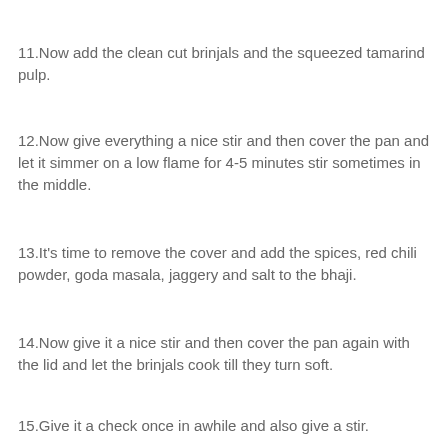11.Now add the clean cut brinjals and the squeezed tamarind pulp.
12.Now give everything a nice stir and then cover the pan and let it simmer on a low flame for 4-5 minutes stir sometimes in the middle.
13.It's time to remove the cover and add the spices, red chili powder, goda masala, jaggery and salt to the bhaji.
14.Now give it a nice stir and then cover the pan again with the lid and let the brinjals cook till they turn soft.
15.Give it a check once in awhile and also give a stir.